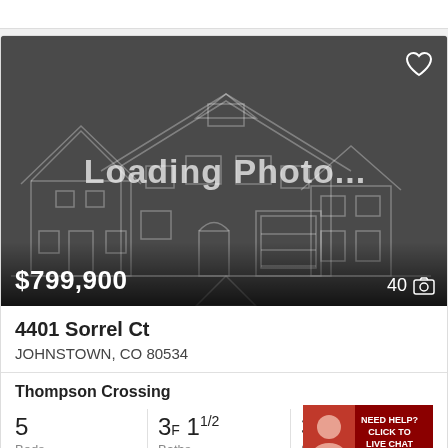[Figure (photo): Loading photo placeholder showing a house outline illustration on dark gray background with 'Loading Photo...' text overlay]
$799,900
40
4401 Sorrel Ct
JOHNSTOWN, CO 80534
Thompson Crossing
5 Beds
3F 1 1/2 Baths
3, Sq
NEED HELP? CLICK TO LIVE CHAT